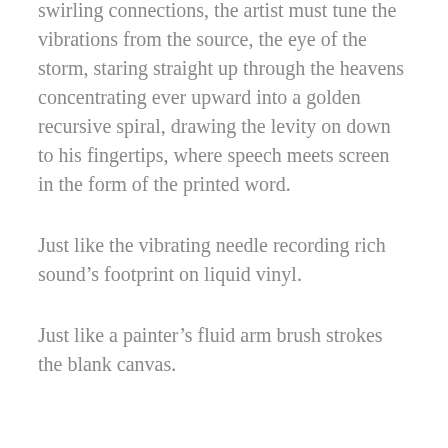swirling connections, the artist must tune the vibrations from the source, the eye of the storm, staring straight up through the heavens concentrating ever upward into a golden recursive spiral, drawing the levity on down to his fingertips, where speech meets screen in the form of the printed word.
Just like the vibrating needle recording rich sound’s footprint on liquid vinyl.
Just like a painter’s fluid arm brush strokes the blank canvas.